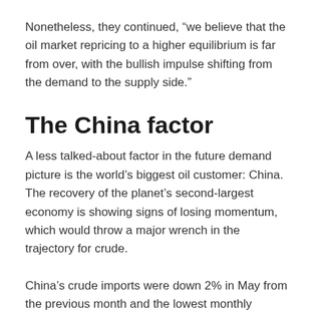Nonetheless, they continued, “we believe that the oil market repricing to a higher equilibrium is far from over, with the bullish impulse shifting from the demand to the supply side.”
The China factor
A less talked-about factor in the future demand picture is the world’s biggest oil customer: China. The recovery of the planet’s second-largest economy is showing signs of losing momentum, which would throw a major wrench in the trajectory for crude.
China’s crude imports were down 2% in May from the previous month and the lowest monthly volume since the year began, according to PVM Associates, falling to 9.77 million barrels per day. In July, they fell further to 9.55